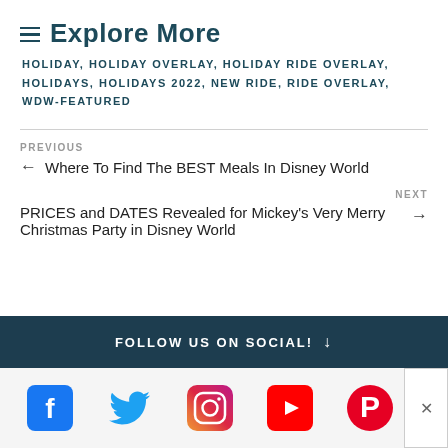Explore More
HOLIDAY, HOLIDAY OVERLAY, HOLIDAY RIDE OVERLAY, HOLIDAYS, HOLIDAYS 2022, NEW RIDE, RIDE OVERLAY, WDW-FEATURED
PREVIOUS
← Where To Find The BEST Meals In Disney World
NEXT
PRICES and DATES Revealed for Mickey's Very Merry Christmas Party in Disney World →
FOLLOW US ON SOCIAL! ↓
[Figure (infographic): Row of social media icons: Facebook (blue), Twitter (teal bird), Instagram (pink/purple gradient), YouTube (red), Pinterest (red/pink), with a close X button on the right]